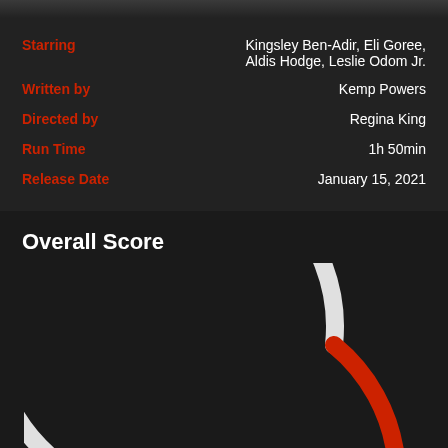| Label | Value |
| --- | --- |
| Starring | Kingsley Ben-Adir, Eli Goree, Aldis Hodge, Leslie Odom Jr. |
| Written by | Kemp Powers |
| Directed by | Regina King |
| Run Time | 1h 50min |
| Release Date | January 15, 2021 |
Overall Score
[Figure (donut-chart): Partial arc gauge chart showing Overall Score. A thick white arc and a thick red arc together form roughly 3/4 of a circle (the top portion), suggesting a score gauge. The red segment is at the top-right portion of the arc.]